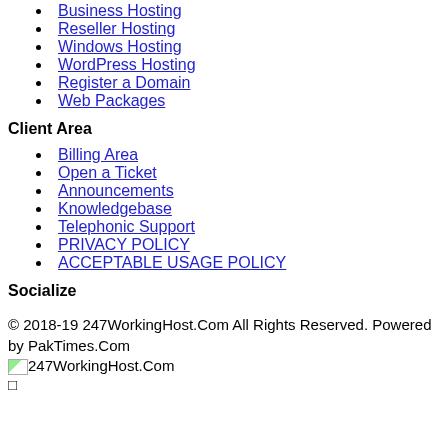Business Hosting
Reseller Hosting
Windows Hosting
WordPress Hosting
Register a Domain
Web Packages
Client Area
Billing Area
Open a Ticket
Announcements
Knowledgebase
Telephonic Support
PRIVACY POLICY
ACCEPTABLE USAGE POLICY
Socialize
© 2018-19 247WorkingHost.Com All Rights Reserved. Powered by PakTimes.Com
247WorkingHost.Com
□